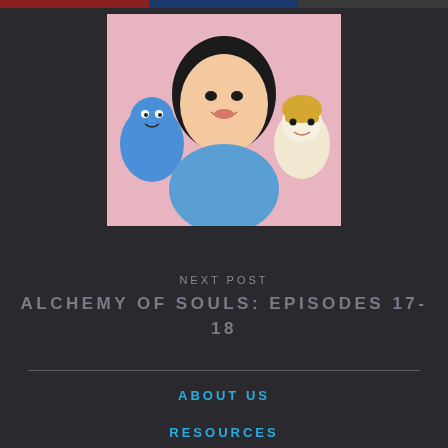[Figure (photo): Partial top strip showing three cropped images side by side - left appears red/action scene, middle blue, right dark]
[Figure (photo): Center image of a smiling Asian woman with dark hair and bangs, flanked by two cartoon/animated characters - a blue round character on the left and a blonde character on the right, pink background]
NEXT POST
ALCHEMY OF SOULS: EPISODES 17-18
ABOUT US
RESOURCES